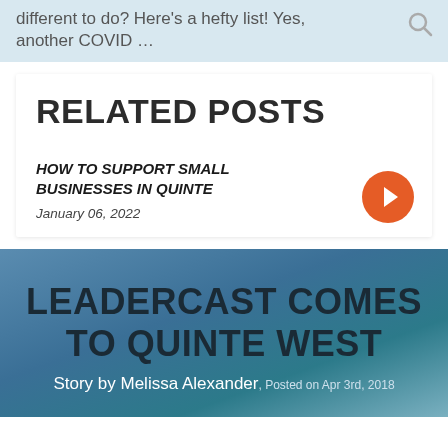different to do? Here's a hefty list! Yes, another COVID …
RELATED POSTS
HOW TO SUPPORT SMALL BUSINESSES IN QUINTE
January 06, 2022
LEADERCAST COMES TO QUINTE WEST
Story by Melissa Alexander, Posted on Apr 3rd, 2018